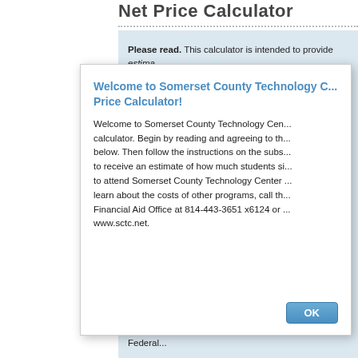Net Price Calculator
Please read. This calculator is intended to provide estimates (defined as estimated cost of attendance — including tuition, books and supplies, room and board (meals), and other related estimated grant and scholarship aid) to current and prospective families based on what similar students paid in a previous year.
By clicking below, I acknowledge that the estimate provided does not represent a final determination, or actual award, of financial assistance; does not represent a final offer of any type of aid; provide; available; of Education...
Students order to receive Federal Federal
Note: An store you
Welcome to Somerset County Technology Center's Net Price Calculator!

Welcome to Somerset County Technology Center's net price calculator. Begin by reading and agreeing to the below. Then follow the instructions on the subsequent pages to receive an estimate of how much students similar to you paid to attend Somerset County Technology Center. To learn about the costs of other programs, call the Financial Aid Office at 814-443-3651 x6124 or www.sctc.net.